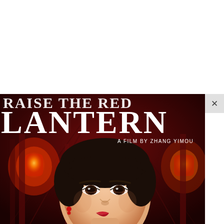[Figure (photo): Movie poster for 'Raise the Red Lantern', a film by Zhang Yimou. Shows a close-up of a young Asian woman's face with short dark hair, wearing a red earring, with red lanterns and a dark corridor visible in the background. Large white serif text at the top reads 'RAISE THE RED LANTERN' with subtitle 'A FILM BY ZHANG YIMOU'. A browser close (x) button appears in the upper right corner.]